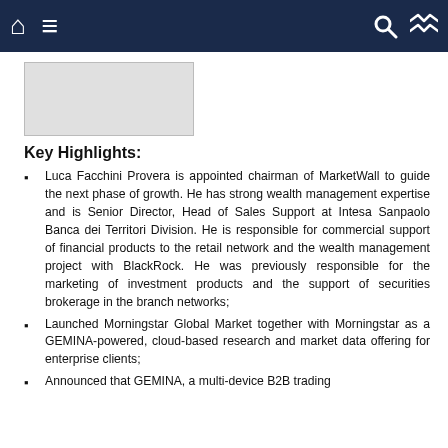Navigation bar with home, menu, search, and shuffle icons
[Figure (other): Placeholder image/logo area, light gray rectangle]
Key Highlights:
Luca Facchini Provera is appointed chairman of MarketWall to guide the next phase of growth. He has strong wealth management expertise and is Senior Director, Head of Sales Support at Intesa Sanpaolo Banca dei Territori Division. He is responsible for commercial support of financial products to the retail network and the wealth management project with BlackRock. He was previously responsible for the marketing of investment products and the support of securities brokerage in the branch networks;
Launched Morningstar Global Market together with Morningstar as a GEMINA-powered, cloud-based research and market data offering for enterprise clients;
Announced that GEMINA, a multi-device B2B trading…